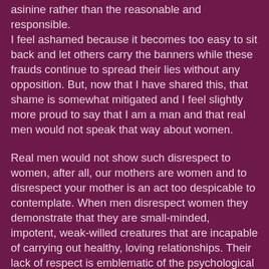asinine rather than the reasonable and responsible. I feel ashamed because it becomes too easy to sit back and let others carry the banners while these frauds continue to spread their lies without any opposition. But, now that I have shared this, that shame is somewhat mitigated and I feel slightly more proud to say that I am a man and that real men would not speak that way about women. Real men would not show such disrespect to women, after all, our mothers are women and to disrespect your mother is an act too despicable to contemplate. When men disrespect women they demonstrate that they are small-minded, impotent, weak-willed creatures that are incapable of carrying out healthy, loving relationships. Their lack of respect is emblematic of the psychological scars that prevent them from developing normal relationships with women and, subsequently, they lash out at them either verbally or worse, with violence. It is time for all the real men to take a stand and say they are not afraid of standing up against the sexism being perpetrated against women in the media. These misogynistic